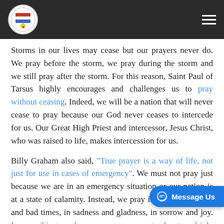Navigation bar with logo and hamburger menu
Storms in our lives may cease but our prayers never do. We pray before the storm, we pray during the storm and we still pray after the storm. For this reason, Saint Paul of Tarsus highly encourages and challenges us to pray without ceasing. Indeed, we will be a nation that will never cease to pray because our God never ceases to intercede for us. Our Great High Priest and intercessor, Jesus Christ, who was raised to life, makes intercession for us.
Billy Graham also said, “True prayer is a way of life, not just for use in cases of emergency”. We must not pray just because we are in an emergency situation or our nation is at a state of calamity. Instead, we pray in both good times and bad times, in sadness and gladness, in sorrow and joy. In everything we do, whether we sit or stand, eat or drink, we do it all for the glory of God. Our